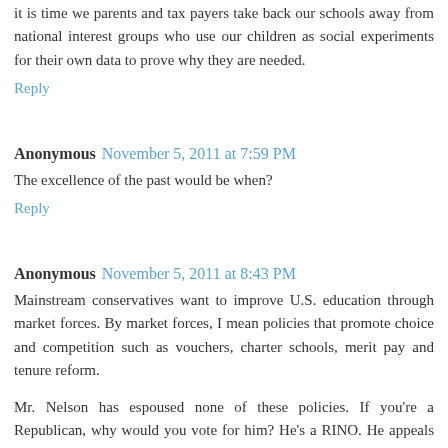it is time we parents and tax payers take back our schools away from national interest groups who use our children as social experiments for their own data to prove why they are needed.
Reply
Anonymous November 5, 2011 at 7:59 PM
The excellence of the past would be when?
Reply
Anonymous November 5, 2011 at 8:43 PM
Mainstream conservatives want to improve U.S. education through market forces. By market forces, I mean policies that promote choice and competition such as vouchers, charter schools, merit pay and tenure reform.
Mr. Nelson has espoused none of these policies. If you're a Republican, why would you vote for him? He's a RINO. He appeals to neither Republicans nor Democrats. He instead